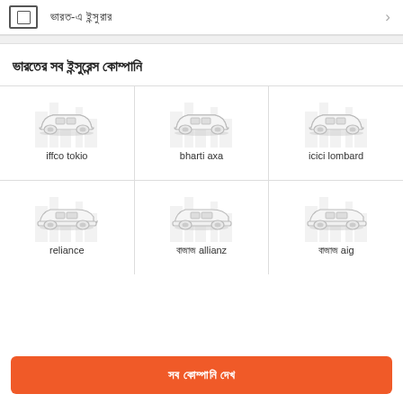ভারত-এ ইন্সুরার
ভারতের সব ইন্সুরেন্স কোম্পানি
[Figure (illustration): Grid of 6 car insurance company logos/illustrations. Row 1: iffco tokio, bharti axa, icici lombard. Row 2: reliance, বাজাজ allianz, বাজাজ aig. Each cell shows a sedan car illustration with faint building silhouette background.]
iffco tokio
bharti axa
icici lombard
reliance
বাজাজ allianz
বাজাজ aig
সব কোম্পানি দেখ